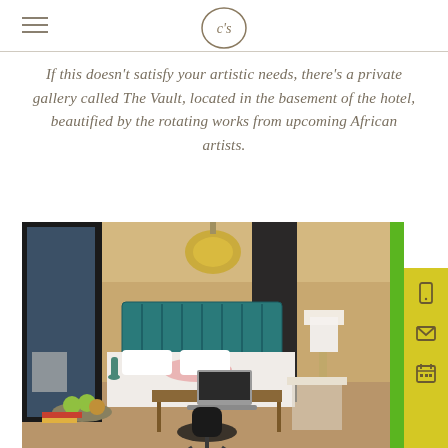c's
If this doesn't satisfy your artistic needs, there's a private gallery called The Vault, located in the basement of the hotel, beautified by the rotating works from upcoming African artists.
[Figure (photo): Luxury hotel room with teal velvet headboard, white bedding, ornate gold chandelier, laptop on wooden desk, black modern chair, large windows, and green structural column on right edge]